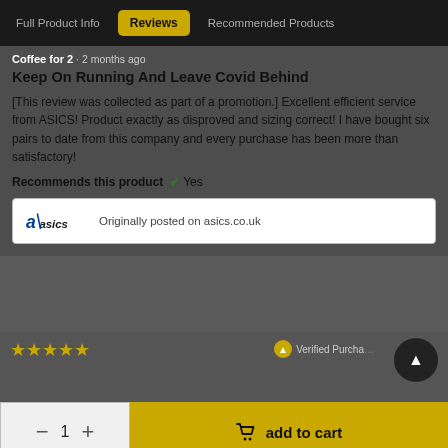Full Product Info | Reviews | Recommended Products
Coffee for 2 · 2 months ago
Keep On Running And Leave Covid Behind
[This review was collected as part of a promotion.] Excellent efficient service from ASICS! Product exactly as disproved and sizing correct! I have bought six pairs to date from this company and every purchase has been more than satisfactory!
Recommends this product ✔ Yes
[Figure (logo): ASICS logo with text: Originally posted on asics.co.uk]
[Figure (other): Five gold star rating icons]
Verified Purchase
1  add to cart